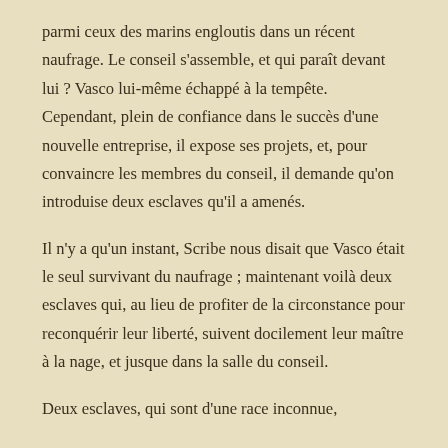parmi ceux des marins engloutis dans un récent naufrage. Le conseil s'assemble, et qui paraît devant lui ? Vasco lui-même échappé à la tempête. Cependant, plein de confiance dans le succès d'une nouvelle entreprise, il expose ses projets, et, pour convaincre les membres du conseil, il demande qu'on introduise deux esclaves qu'il a amenés.
Il n'y a qu'un instant, Scribe nous disait que Vasco était le seul survivant du naufrage ; maintenant voilà deux esclaves qui, au lieu de profiter de la circonstance pour reconquérir leur liberté, suivent docilement leur maître à la nage, et jusque dans la salle du conseil.
Deux esclaves, qui sont d'une race inconnue,
Sur le marché des noirs avaient frappé ma vue,